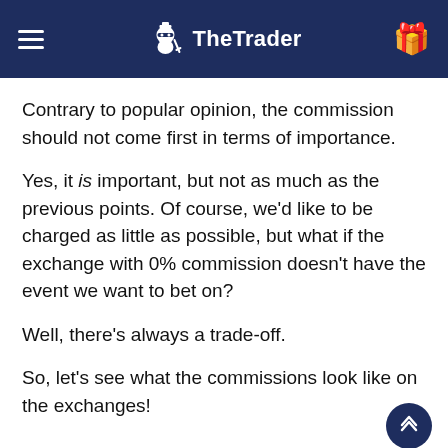TheTrader
Contrary to popular opinion, the commission should not come first in terms of importance.
Yes, it is important, but not as much as the previous points. Of course, we'd like to be charged as little as possible, but what if the exchange with 0% commission doesn't have the event we want to bet on?
Well, there's always a trade-off.
So, let's see what the commissions look like on the exchanges!